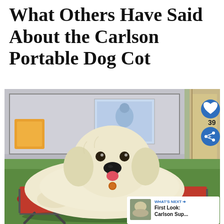What Others Have Said About the Carlson Portable Dog Cot
[Figure (photo): A golden retriever puppy lying on a red Carlson portable dog cot outdoors, in front of a store window display with toys. Social interaction buttons (heart/like = 39, share) visible on right side. A 'What's Next' overlay in bottom right shows a thumbnail and text 'First Look: Carlson Sup...']